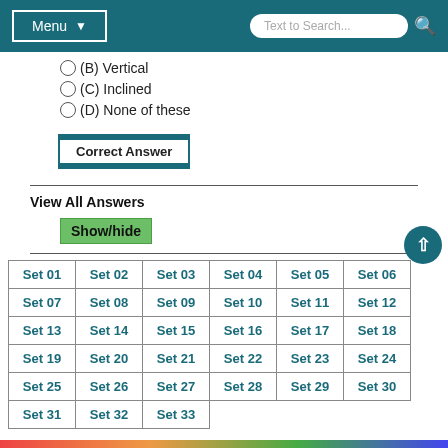Menu | Text to Search...
(B) Vertical
(C) Inclined
(D) None of these
Correct Answer
View All Answers
Show/hide
| Set 01 | Set 02 | Set 03 | Set 04 | Set 05 | Set 06 |
| Set 07 | Set 08 | Set 09 | Set 10 | Set 11 | Set 12 |
| Set 13 | Set 14 | Set 15 | Set 16 | Set 17 | Set 18 |
| Set 19 | Set 20 | Set 21 | Set 22 | Set 23 | Set 24 |
| Set 25 | Set 26 | Set 27 | Set 28 | Set 29 | Set 30 |
| Set 31 | Set 32 | Set 33 |  |  |  |